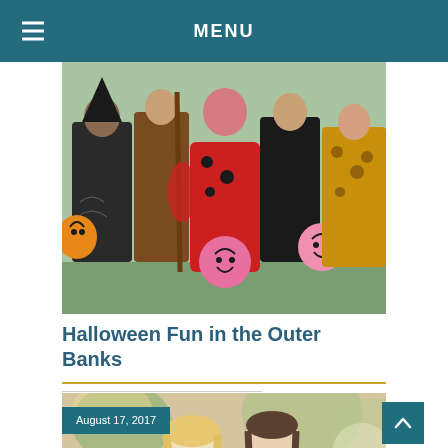MENU
[Figure (photo): Group of children and adults in Halloween costumes holding jack-o-lantern baskets]
Halloween Fun in the Outer Banks
[Figure (photo): Couple smiling at each other at an outdoor event, with date badge reading August 17, 2017]
August 17, 2017